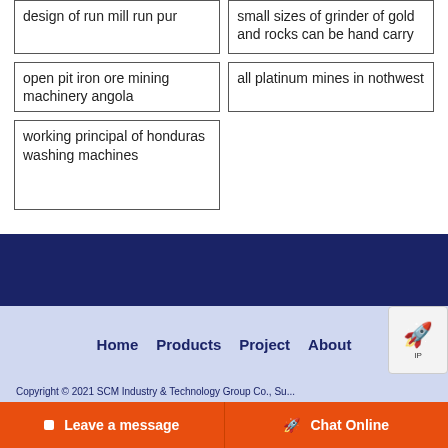design of run mill run pur
small sizes of grinder of gold and rocks can be hand carry
open pit iron ore mining machinery angola
all platinum mines in nothwest
working principal of honduras washing machines
Home  Products  Project  About
Copyright © 2021 SCM Industry & Technology Group Co., Su...
Leave a message   Chat Online